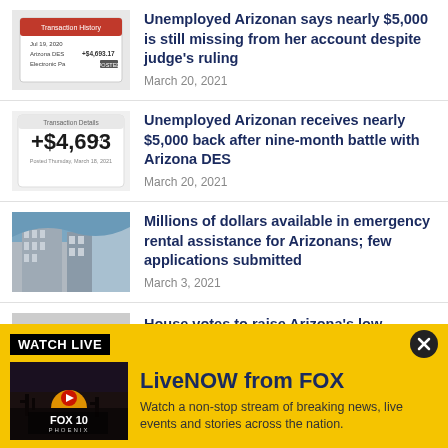[Figure (screenshot): Bank transaction history screenshot showing Arizona DES payment]
Unemployed Arizonan says nearly $5,000 is still missing from her account despite judge's ruling
March 20, 2021
[Figure (screenshot): Bank transaction detail showing +$4,693 payment]
Unemployed Arizonan receives nearly $5,000 back after nine-month battle with Arizona DES
March 20, 2021
[Figure (photo): Construction building under blue sky]
Millions of dollars available in emergency rental assistance for Arizonans; few applications submitted
March 3, 2021
[Figure (photo): Partial view of unemployment benefits document]
House votes to raise Arizona's low
[Figure (screenshot): FOX 10 Phoenix LiveNOW thumbnail with sunset desert scene]
WATCH LIVE
LiveNOW from FOX
Watch a non-stop stream of breaking news, live events and stories across the nation.